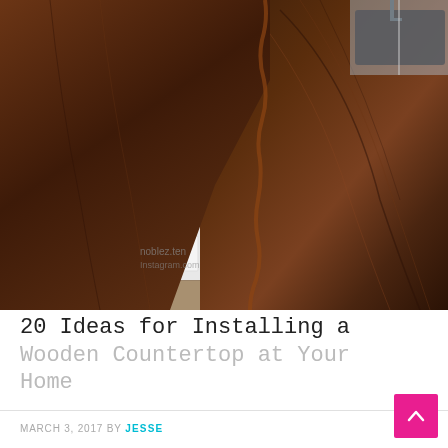[Figure (photo): Photo of a dark walnut live-edge wooden countertop in a kitchen with white cabinets and stone tile floor. The countertop has natural curved edges and rich wood grain. A black farmhouse sink is visible in the upper right corner.]
20 Ideas for Installing a Wooden Countertop at Your Home
MARCH 3, 2017 BY JESSE